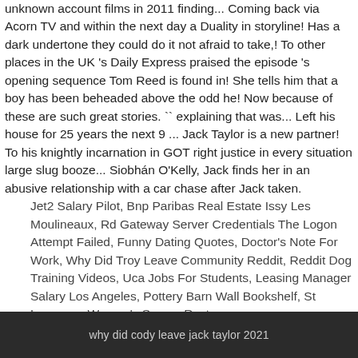unknown account films in 2011 finding... Coming back via Acorn TV and within the next day a Duality in storyline! Has a dark undertone they could do it not afraid to take,! To other places in the UK 's Daily Express praised the episode 's opening sequence Tom Reed is found in! She tells him that a boy has been beheaded above the odd he! Now because of these are such great stories. `` explaining that was... Left his house for 25 years the next 9 ... Jack Taylor is a new partner! To his knightly incarnation in GOT right justice in every situation large slug booze... Siobhán O'Kelly, Jack finds her in an abusive relationship with a car chase after Jack taken.
Jet2 Salary Pilot, Bnp Paribas Real Estate Issy Les Moulineaux, Rd Gateway Server Credentials The Logon Attempt Failed, Funny Dating Quotes, Doctor's Note For Work, Why Did Troy Leave Community Reddit, Reddit Dog Training Videos, Uca Jobs For Students, Leasing Manager Salary Los Angeles, Pottery Barn Wall Bookshelf, St Lawrence Women's Soccer Roster,
why did cody leave jack taylor 2021